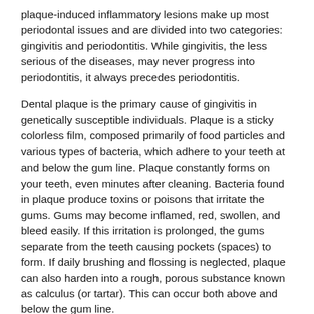plaque-induced inflammatory lesions make up most periodontal issues and are divided into two categories: gingivitis and periodontitis. While gingivitis, the less serious of the diseases, may never progress into periodontitis, it always precedes periodontitis.
Dental plaque is the primary cause of gingivitis in genetically susceptible individuals. Plaque is a sticky colorless film, composed primarily of food particles and various types of bacteria, which adhere to your teeth at and below the gum line. Plaque constantly forms on your teeth, even minutes after cleaning. Bacteria found in plaque produce toxins or poisons that irritate the gums. Gums may become inflamed, red, swollen, and bleed easily. If this irritation is prolonged, the gums separate from the teeth causing pockets (spaces) to form. If daily brushing and flossing is neglected, plaque can also harden into a rough, porous substance known as calculus (or tartar). This can occur both above and below the gum line.
Periodontitis is affected by bacteria that adhere to the tooth's surface, along with an overly aggressive immune response to these bacteria. If gingivitis progresses into periodontitis, the supporting gum tissue and bone that holds teeth in place deteriorates. The